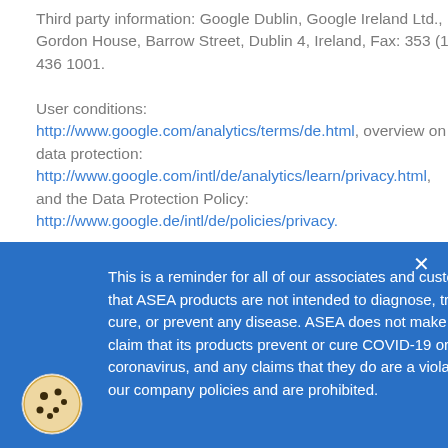Third party information: Google Dublin, Google Ireland Ltd., Gordon House, Barrow Street, Dublin 4, Ireland, Fax: 353 (1) 436 1001.

User conditions: http://www.google.com/analytics/terms/de.html, overview on data protection: http://www.google.com/intl/de/analytics/learn/privacy.html, and the Data Protection Policy: http://www.google.de/intl/de/policies/privacy.
This is a reminder for all of our associates and customers that ASEA products are not intended to diagnose, treat, cure, or prevent any disease. ASEA does not make any claim that its products prevent or cure COVID-19 or the coronavirus, and any claims that they do are a violation of our company policies and are prohibited.